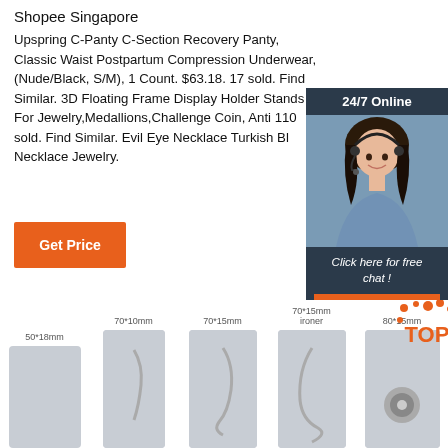Shopee Singapore
Upspring C-Panty C-Section Recovery Panty, Classic Waist Postpartum Compression Underwear, (Nude/Black, S/M), 1 Count. $63.18. 17 sold. Find Similar. 3D Floating Frame Display Holder Stands For Jewelry,Medallions,Challenge Coin, Anti 110 sold. Find Similar. Evil Eye Necklace Turkish Bl Necklace Jewelry.
[Figure (other): Orange 'Get Price' button]
[Figure (other): 24/7 Online chat widget with woman wearing headset, 'Click here for free chat!' text and orange QUOTATION button]
[Figure (other): Product images showing fabric labels/tags with measurements: 50*18mm, 70*10mm, 70*15mm, 70*15mm ironer, 80*15mm with circular element. TOP badge overlay on last item.]